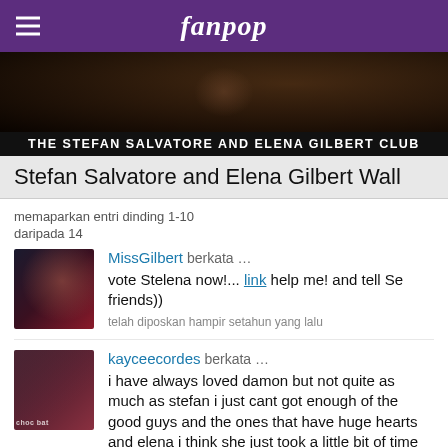fanpop
[Figure (photo): Dark silhouette hero image showing two people close together]
THE STEFAN SALVATORE AND ELENA GILBERT CLUB
Stefan Salvatore and Elena Gilbert Wall
memaparkan entri dinding 1-10
daripada 14
MissGilbert berkata … vote Stelena now!... link help me! and tell Se friends))
telah diposkan hampir setahun yang lalu
kayceecordes berkata … i have always loved damon but not quite as much as stefan i just cant got enough of the good guys and the ones that have huge hearts and elena i think she just took a little bit of time choosing who and what she wanted but at least she chose stefan